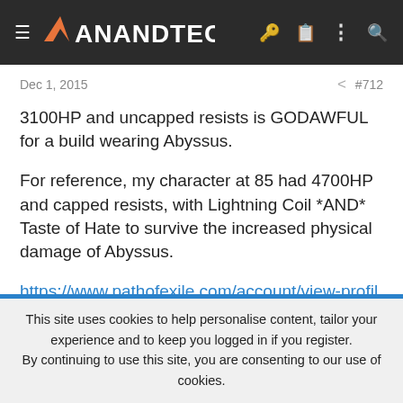AnandTech navigation header
Dec 1, 2015
#712
3100HP and uncapped resists is GODAWFUL for a build wearing Abyssus.
For reference, my character at 85 had 4700HP and capped resists, with Lightning Coil *AND* Taste of Hate to survive the increased physical damage of Abyssus.
https://www.pathofexile.com/account/view-profile/JaxOmen/characters/SoulReaverHel
@ Carnage Heart: Always been a GODAWFUL amulet because of the
This site uses cookies to help personalise content, tailor your experience and to keep you logged in if you register.
By continuing to use this site, you are consenting to our use of cookies.